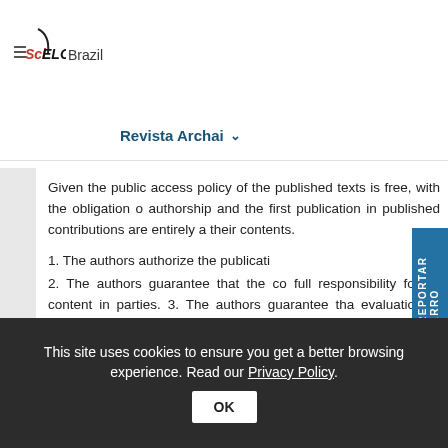[Figure (logo): SciELO Brazil logo with hamburger menu icon]
Revista Archai ▾
Given the public access policy of the published texts is free, with the obligation of authorship and the first publication in published contributions are entirely a their contents.
1. The authors authorize the publication
2. The authors guarantee that the contribution full responsibility for its content in parties. 3. The authors guarantee that evaluation in another journal.
This site uses cookies to ensure you get a better browsing experience. Read our Privacy Policy.